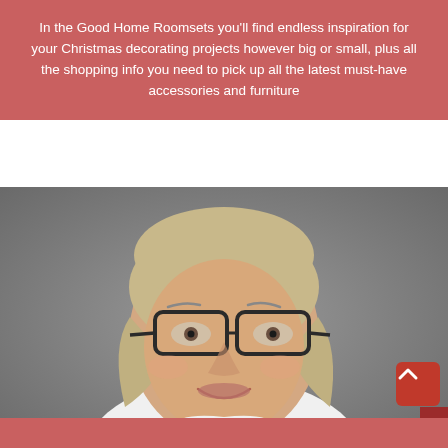In the Good Home Roomsets you'll find endless inspiration for your Christmas decorating projects however big or small, plus all the shopping info you need to pick up all the latest must-have accessories and furniture
[Figure (photo): Portrait photograph of an older woman with short grey-blonde hair, wearing dark-rimmed glasses and a white top, smiling against a grey background. A dark red 'Buy Tickets' tab is visible on the right edge.]